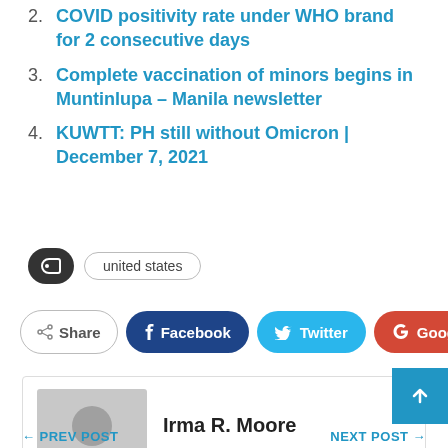2. COVID positivity rate under WHO brand for 2 consecutive days
3. Complete vaccination of minors begins in Muntinlupa – Manila newsletter
4. KUWTT: PH still without Omicron | December 7, 2021
united states
Share  Facebook  Twitter  Google+
Irma R. Moore